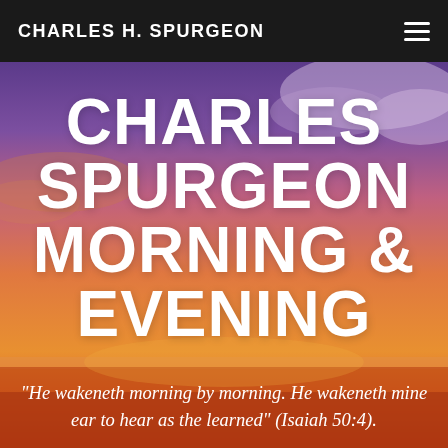CHARLES H. SPURGEON
[Figure (illustration): Sunset sky background with gradient from purple/blue at top to orange/pink/red at bottom, with horizon line and cloud formations visible]
CHARLES SPURGEON MORNING & EVENING
"He wakeneth morning by morning. He wakeneth mine ear to hear as the learned" (Isaiah 50:4).